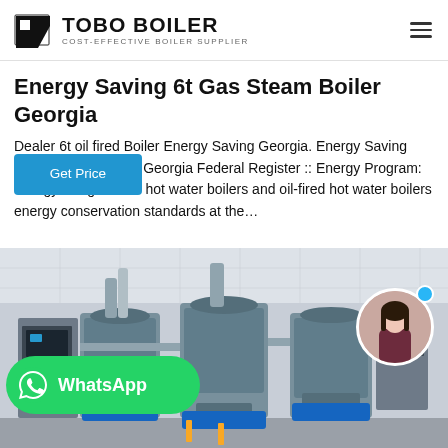TOBO BOILER — COST-EFFECTIVE BOILER SUPPLIER
Energy Saving 6t Gas Steam Boiler Georgia
Dealer 6t oil fired Boiler Energy Saving Georgia. Energy Saving 6t Boiler Georgia Federal Register :: Energy Program: Energy For gas-fired hot water boilers and oil-fired hot water boilers energy conservation standards at the…
[Figure (photo): Industrial boiler room with multiple grey gas steam boilers and blue machinery components, pipes and control panels, in a commercial facility.]